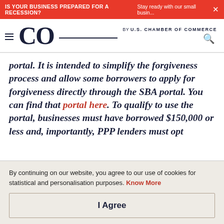IS YOUR BUSINESS PREPARED FOR A RECESSION? Stay ready with our small busin...
CO by U.S. CHAMBER OF COMMERCE
portal. It is intended to simplify the forgiveness process and allow some borrowers to apply for forgiveness directly through the SBA portal. You can find that portal here. To qualify to use the portal, businesses must have borrowed $150,000 or less and, importantly, PPP lenders must opt
By continuing on our website, you agree to our use of cookies for statistical and personalisation purposes. Know More
I Agree